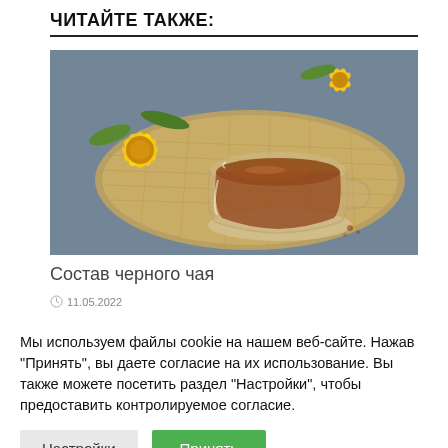ЧИТАЙТЕ ТАКЖЕ:
[Figure (photo): Photo of a glass cup of black tea with yellow flower (calendula) on a burlap mat background]
Состав черного чая
11.05.2022
Мы используем файлы cookie на нашем веб-сайте. Нажав "Принять", вы даете согласие на их использование. Вы также можете посетить раздел "Настройки", чтобы предоставить контролируемое согласие.
Настройки
Принять